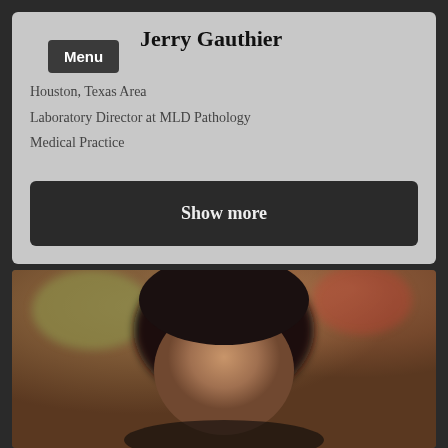Jerry Gauthier
Houston, Texas Area
Laboratory Director at MLD Pathology
Medical Practice
Show more
[Figure (photo): Portrait photo of a man with dark hair, blurred background with warm tones]